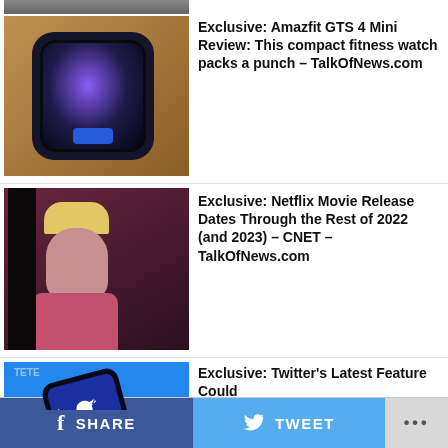[Figure (photo): Partial cropped photo at top]
[Figure (photo): Amazfit GTS 4 Mini smartwatch with purple display]
Exclusive: Amazfit GTS 4 Mini Review: This compact fitness watch packs a punch – TalkOfNews.com
[Figure (photo): Woman with blonde hair in pink dress, Netflix movie still]
Exclusive: Netflix Movie Release Dates Through the Rest of 2022 (and 2023) – CNET – TalkOfNews.com
[Figure (photo): Twitter logo on smartphone on blue background]
Exclusive: Twitter's Latest Feature Could Make Tweeting Less Intimidating – CNET – TalkOfNews.com
CLICK TO COMMENT
SHARE   TWEET   ...